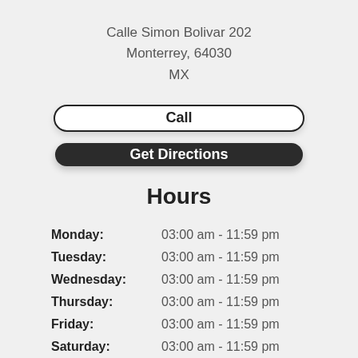Calle Simon Bolivar 202
Monterrey, 64030
MX
Call
Get Directions
Hours
| Day | Hours |
| --- | --- |
| Monday: | 03:00 am - 11:59 pm |
| Tuesday: | 03:00 am - 11:59 pm |
| Wednesday: | 03:00 am - 11:59 pm |
| Thursday: | 03:00 am - 11:59 pm |
| Friday: | 03:00 am - 11:59 pm |
| Saturday: | 03:00 am - 11:59 pm |